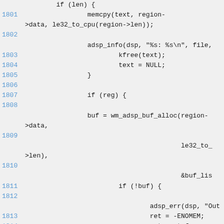Source code listing lines 1801-1816, C kernel code with memcpy, adsp_info, kfree, wm_adsp_buf_alloc, adsp_err, ret = -ENOMEM, goto out_fw.